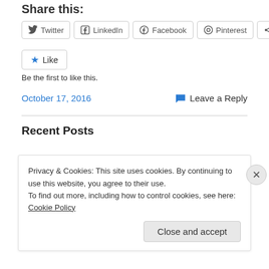Share this:
Twitter LinkedIn Facebook Pinterest More
Like
Be the first to like this.
October 17, 2016
Leave a Reply
Recent Posts
Privacy & Cookies: This site uses cookies. By continuing to use this website, you agree to their use.
To find out more, including how to control cookies, see here: Cookie Policy
Close and accept